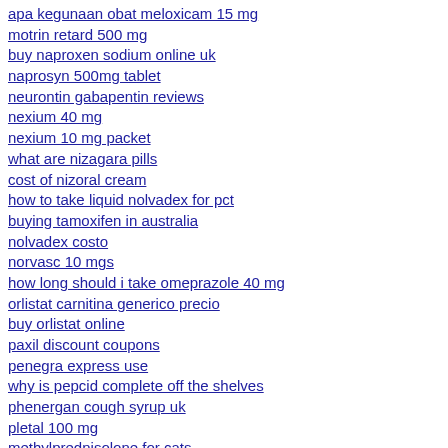apa kegunaan obat meloxicam 15 mg
motrin retard 500 mg
buy naproxen sodium online uk
naprosyn 500mg tablet
neurontin gabapentin reviews
nexium 40 mg
nexium 10 mg packet
what are nizagara pills
cost of nizoral cream
how to take liquid nolvadex for pct
buying tamoxifen in australia
nolvadex costo
norvasc 10 mgs
how long should i take omeprazole 40 mg
orlistat carnitina generico precio
buy orlistat online
paxil discount coupons
penegra express use
why is pepcid complete off the shelves
phenergan cough syrup uk
pletal 100 mg
methylprednisolone for cats
buy premarin online cheap
prevacid cause acne
priligy 30 mg non funziona